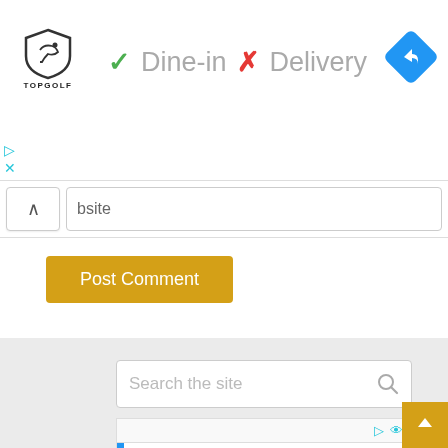[Figure (logo): Topgolf logo with shield icon and TOPGOLF text below]
✓ Dine-in  ✗ Delivery
[Figure (other): Blue diamond navigation icon with right-turn arrow]
[Figure (other): Small cyan play and X ad icons on left side]
bsite
Post Comment
Search the site
[Figure (other): Small ad row with cyan play and eye icons]
Best Interior Colors
Best Interior Designer Websites
Small Bedroom Design Ideas